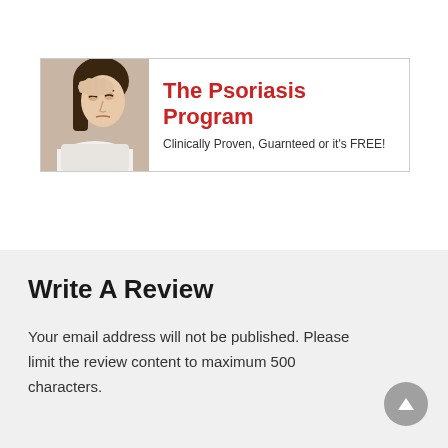[Figure (infographic): Banner advertisement for 'The Psoriasis Program' showing a woman with head in hand on the left, and red bold title text 'The Psoriasis Program' with subtitle 'Clinically Proven, Guarnteed or it's FREE!' on the right.]
Write A Review
Your email address will not be published. Please limit the review content to maximum 500 characters.